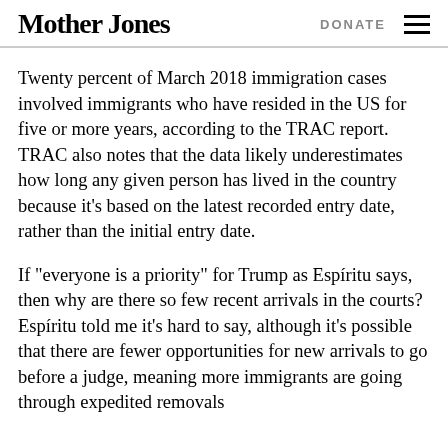Mother Jones | DONATE
Twenty percent of March 2018 immigration cases involved immigrants who have resided in the US for five or more years, according to the TRAC report. TRAC also notes that the data likely underestimates how long any given person has lived in the country because it’s based on the latest recorded entry date, rather than the initial entry date.
If “everyone is a priority” for Trump as Espíritu says, then why are there so few recent arrivals in the courts? Espíritu told me it’s hard to say, although it’s possible that there are fewer opportunities for new arrivals to go before a judge, meaning more immigrants are going through expedited removals